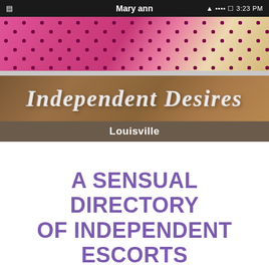Mary ann  3:23 PM
[Figure (screenshot): Mobile app screenshot showing a photo of a person in pink polka-dot clothing at top, then an 'Independent Desires' banner logo over a brown/tan background, then a dark location bar reading 'Louisville']
A SENSUAL DIRECTORY OF INDEPENDENT ESCORTS
SOPHISTICATED LADIES, SEDUCTIVELY CLAD WOMEN, SEXY NAUGHTY MEN READY TO PROVIDE A MOST PLEASURABLE EXPERIENCE THE